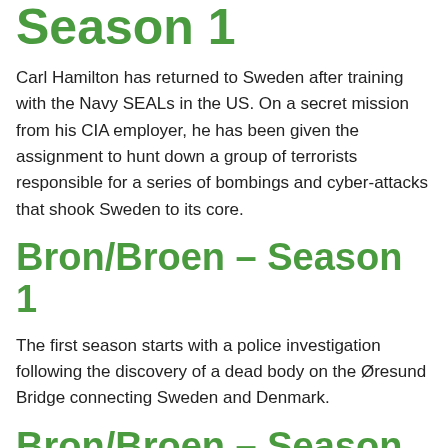Season 1
Carl Hamilton has returned to Sweden after training with the Navy SEALs in the US. On a secret mission from his CIA employer, he has been given the assignment to hunt down a group of terrorists responsible for a series of bombings and cyber-attacks that shook Sweden to its core.
Bron/Broen – Season 1
The first season starts with a police investigation following the discovery of a dead body on the Øresund Bridge connecting Sweden and Denmark.
Bron/Broen – Season 2
A tanker is heading towards the bridge. When it is boarded by the coastguard the crew are discovered to be missing. The only people on board are five youths, drugged and